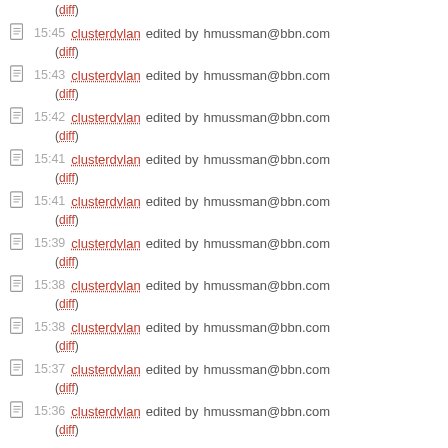(diff)
15:45 clusterdvlan edited by hmussman@bbn.com (diff)
15:43 clusterdvlan edited by hmussman@bbn.com (diff)
15:42 clusterdvlan edited by hmussman@bbn.com (diff)
15:41 clusterdvlan edited by hmussman@bbn.com (diff)
15:41 clusterdvlan edited by hmussman@bbn.com (diff)
15:39 clusterdvlan edited by hmussman@bbn.com (diff)
15:38 clusterdvlan edited by hmussman@bbn.com (diff)
15:38 clusterdvlan edited by hmussman@bbn.com (diff)
15:37 clusterdvlan edited by hmussman@bbn.com (diff)
15:36 clusterdvlan edited by hmussman@bbn.com (diff)